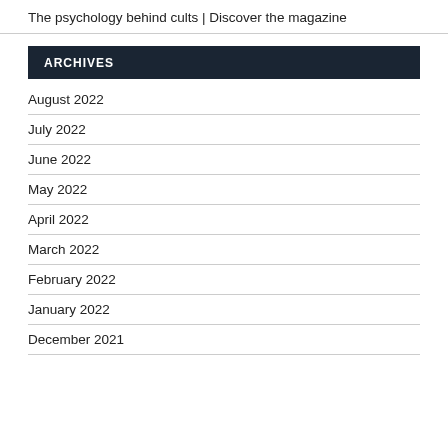The psychology behind cults | Discover the magazine
ARCHIVES
August 2022
July 2022
June 2022
May 2022
April 2022
March 2022
February 2022
January 2022
December 2021